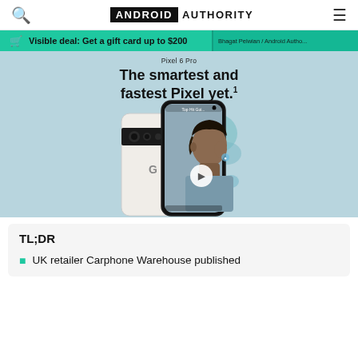ANDROID AUTHORITY
Visible deal: Get a gift card up to $200
[Figure (screenshot): Google Pixel 6 Pro advertisement showing two phones (one from back, one from front) against a light blue background with blobs. Text reads 'Pixel 6 Pro' and 'The smartest and fastest Pixel yet.1'. A person with dreadlocks is shown on the phone screen.]
TL;DR
UK retailer Carphone Warehouse published